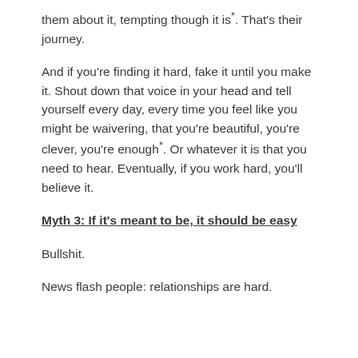them about it, tempting though it is*. That's their journey.
And if you're finding it hard, fake it until you make it. Shout down that voice in your head and tell yourself every day, every time you feel like you might be waivering, that you're beautiful, you're clever, you're enough*. Or whatever it is that you need to hear. Eventually, if you work hard, you'll believe it.
Myth 3: If it's meant to be, it should be easy
Bullshit.
News flash people: relationships are hard.